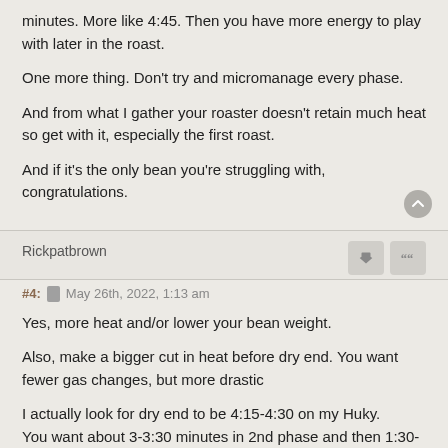minutes. More like 4:45. Then you have more energy to play with later in the roast.
One more thing. Don't try and micromanage every phase.
And from what I gather your roaster doesn't retain much heat so get with it, especially the first roast.
And if it's the only bean you're struggling with, congratulations.
Rickpatbrown
#4: May 26th, 2022, 1:13 am
Yes, more heat and/or lower your bean weight.
Also, make a bigger cut in heat before dry end. You want fewer gas changes, but more drastic
I actually look for dry end to be 4:15-4:30 on my Huky.
You want about 3-3:30 minutes in 2nd phase and then 1:30-2:30 in final.
Generally, try to roast as hard and fast as you can while fully developing